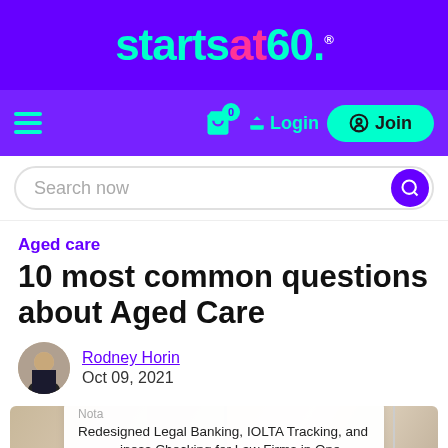[Figure (logo): startsat60 logo in cyan/green on purple background with registered trademark symbol]
[Figure (screenshot): Navigation bar with hamburger menu, cart icon with badge showing 0, Login button, and Join button on purple background]
[Figure (screenshot): Search bar with 'Search now' placeholder and purple search button]
Aged care
10 most common questions about Aged Care
Rodney Horin
Oct 09, 2021
[Figure (photo): Partial article header image showing a room with curtains and door]
Nota
Redesigned Legal Banking, IOLTA Tracking, and Business Checking for Law Firms in One Place